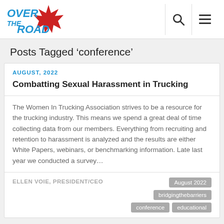[Figure (logo): Over The Road logo with red maple leaf and blue text]
Posts Tagged 'conference'
AUGUST, 2022
Combatting Sexual Harassment in Trucking
The Women In Trucking Association strives to be a resource for the trucking industry. This means we spend a great deal of time collecting data from our members. Everything from recruiting and retention to harassment is analyzed and the results are either White Papers, webinars, or benchmarking information. Late last year we conducted a survey…
ELLEN VOIE, PRESIDENT/CEO
August 2022
bridgingthebarriers
conference
educational